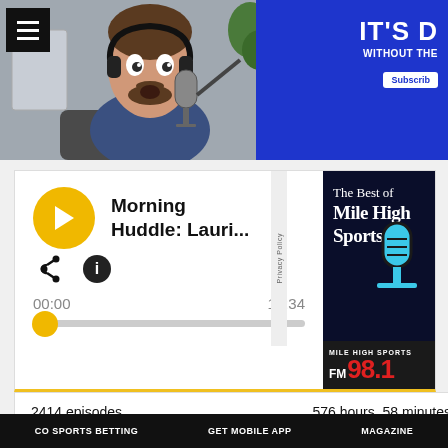[Figure (screenshot): Top banner showing a podcast host with headphones in front of a microphone, with a blue advertisement for Mile High Sports on the right showing 'IT'S D' and 'WITHOUT THE' text with a Subscribe button]
[Figure (screenshot): Podcast player card showing Morning Huddle: Lauri... episode, with yellow play button, share and info icons, time display 00:00 and 13:34, and a progress bar. Right side shows 'The Best of Mile High Sports' logo with FM 98.1 branding.]
2414 episodes
576 hours, 58 minutes
Morning Huddle: Laurie...
13:34
CO SPORTS BETTING   GET MOBILE APP   MAGAZINE